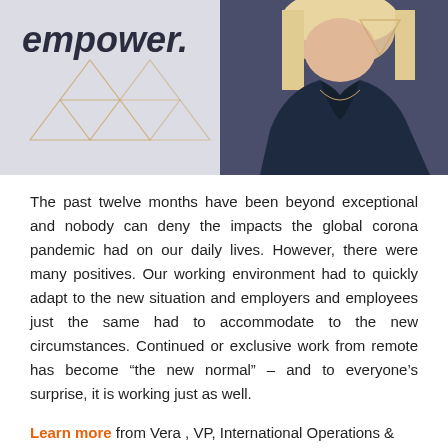[Figure (photo): Photo banner of a woman with blonde hair wearing a dark navy blazer, with geometric gold triangle pattern overlay on a light background on the left side. Bold italic text 'empower.' visible in the upper left area.]
The past twelve months have been beyond exceptional and nobody can deny the impacts the global corona pandemic had on our daily lives. However, there were many positives. Our working environment had to quickly adapt to the new situation and employers and employees just the same had to accommodate to the new circumstances. Continued or exclusive work from remote has become “the new normal” – and to everyone’s surprise, it is working just as well.
Learn more from Vera , VP, International Operations & Managing Director Foundation